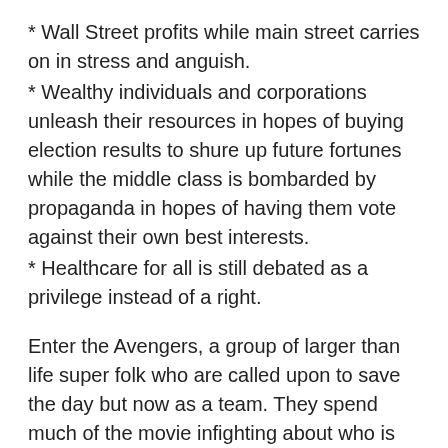* Wall Street profits while main street carries on in stress and anguish.
* Wealthy individuals and corporations unleash their resources in hopes of buying election results to shure up future fortunes while the middle class is bombarded by propaganda in hopes of having them vote against their own best interests.
* Healthcare for all is still debated as a privilege instead of a right.
Enter the Avengers, a group of larger than life super folk who are called upon to save the day but now as a team. They spend much of the movie infighting about who is really heroic. In the end, they act together and, in so doing, they evolve. They are transformed and their greatness comes from having each other's back and